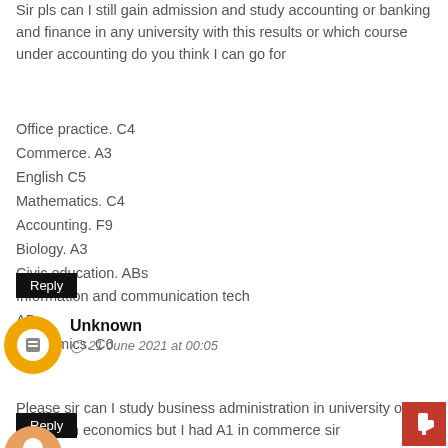Sir pls can I still gain admission and study accounting or banking and finance in any university with this results or which course under accounting do you think I can go for
Office practice. C4
Commerce. A3
English C5
Mathematics. C4
Accounting. F9
Biology. A3
Civic education. ABs
Information and communication tech ABs
Economics. C6
Reply
Unknown
21 June 2021 at 00:05
Please sir can I study business administration in university of ilorin with E8 in economics but I had A1 in commerce sir
Reply